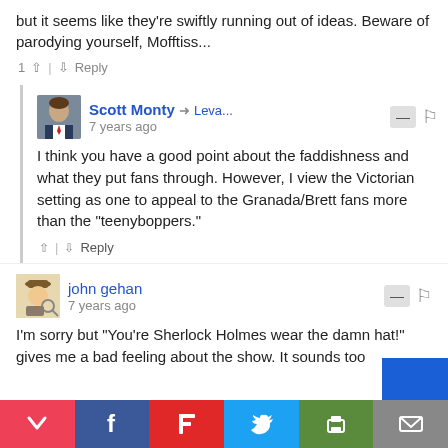but it seems like they're swiftly running out of ideas. Beware of parodying yourself, Mofftiss...
1 ^ | v Reply
Scott Monty → Leva... 7 years ago
I think you have a good point about the faddishness and what they put fans through. However, I view the Victorian setting as one to appeal to the Granada/Brett fans more than the "teenyboppers."
^ | v Reply
john gehan 7 years ago
I'm sorry but "You're Sherlock Holmes wear the damn hat!" gives me a bad feeling about the show. It sounds too